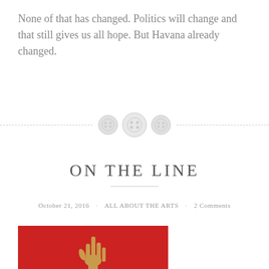None of that has changed. Politics will change and that still gives us all hope. But Havana already changed.
[Figure (illustration): Three decorative button icons arranged horizontally, flanked by dashed horizontal lines forming a section divider]
ON THE LINE
October 21, 2016 · ALL ABOUT THE ARTS · 2 Comments
[Figure (photo): Red background image showing a raised hand or arm, partially visible at bottom of page]